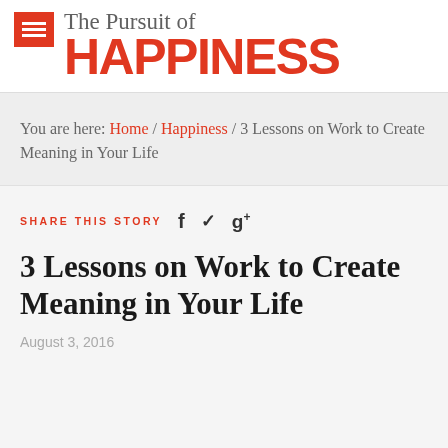The Pursuit of HAPPINESS
You are here: Home / Happiness / 3 Lessons on Work to Create Meaning in Your Life
SHARE THIS STORY  f  ✓  g+
3 Lessons on Work to Create Meaning in Your Life
August 3, 2016